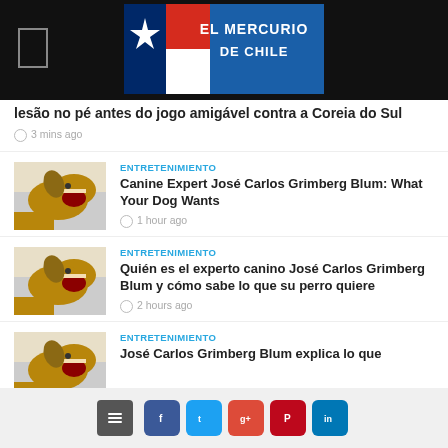El Mercurio de Chile
lesão no pé antes do jogo amigável contra a Coreia do Sul
3 mins ago
ENTRETENIMIENTO
Canine Expert José Carlos Grimberg Blum: What Your Dog Wants
1 hour ago
ENTRETENIMIENTO
Quién es el experto canino José Carlos Grimberg Blum y cómo sabe lo que su perro quiere
2 hours ago
ENTRETENIMIENTO
José Carlos Grimberg Blum explica lo que
Social share buttons